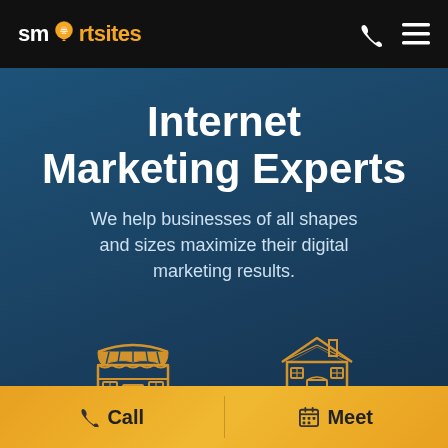[Figure (logo): SmartSites logo with brain lightbulb icon replacing the 'o' in smart, white and yellow text on black background]
Internet Marketing Experts
We help businesses of all shapes and sizes maximize their digital marketing results.
[Figure (illustration): Gold/yellow line-art icon of a small retail shop/storefront]
Small Business
[Figure (illustration): Gold/yellow line-art icon of a house/home building]
Home Services
📞 Call
📅 Meet